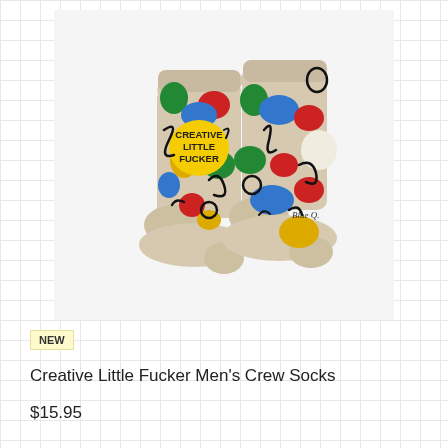[Figure (photo): A pair of beige/oatmeal crew socks with colorful abstract shapes (red, green, blue, yellow, white blobs) and black swirling line art. The left sock reads 'CREATIVE LITTLE FUCKER' on a yellow circle. The right sock has a Blue Q brand logo near the heel.]
NEW
Creative Little Fucker Men's Crew Socks
$15.95